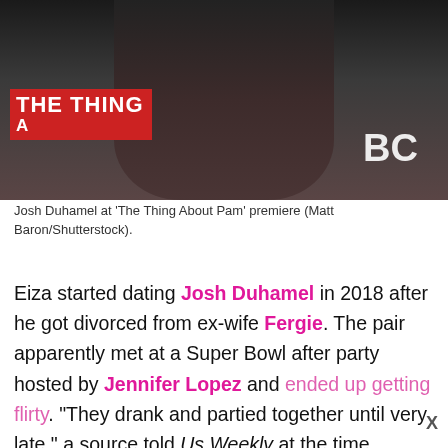[Figure (photo): Josh Duhamel at 'The Thing About Pam' premiere, wearing a dark brown leather jacket against a dark backdrop with 'THE THING' banner in red and 'BC' text visible]
Josh Duhamel at 'The Thing About Pam' premiere (Matt Baron/Shutterstock).
Eiza started dating Josh Duhamel in 2018 after he got divorced from ex-wife Fergie. The pair apparently met at a Super Bowl after party hosted by Jennifer Lopez and ended up getting flirty. "They drank and partied together until very late," a source told Us Weekly at the time. "After, Josh reached out to a mutual friend and asked for Eiza's number."